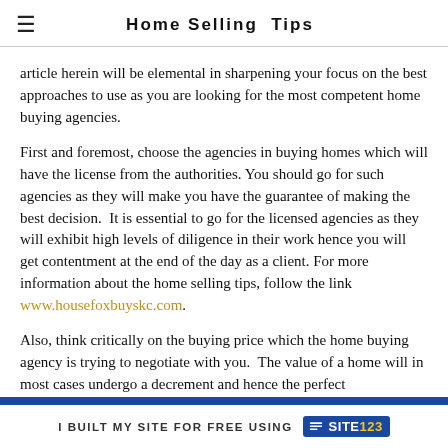Home Selling Tips
article herein will be elemental in sharpening your focus on the best approaches to use as you are looking for the most competent home buying agencies.
First and foremost, choose the agencies in buying homes which will have the license from the authorities. You should go for such agencies as they will make you have the guarantee of making the best decision.  It is essential to go for the licensed agencies as they will exhibit high levels of diligence in their work hence you will get contentment at the end of the day as a client. For more information about the home selling tips, follow the link www.housefoxbuyskc.com.
Also, think critically on the buying price which the home buying agency is trying to negotiate with you.  The value of a home will in most cases undergo a decrement and hence the perfect
I BUILT MY SITE FOR FREE USING  SITE123